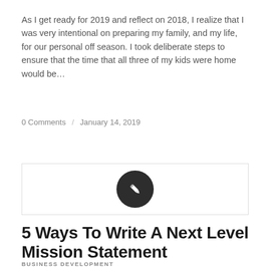As I get ready for 2019 and reflect on 2018, I realize that I was very intentional on preparing my family, and my life, for our personal off season. I took deliberate steps to ensure that the time that all three of my kids were home would be…
0 Comments / January 14, 2019
[Figure (illustration): A dark circular icon with a pencil/edit symbol inside, centered in a bordered card area]
5 Ways To Write A Next Level Mission Statement
BUSINESS DEVELOPMENT